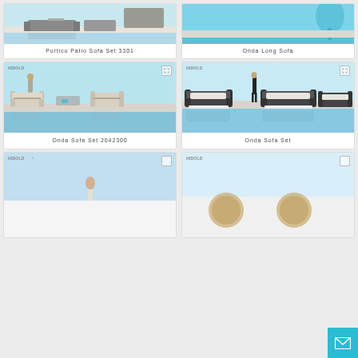[Figure (photo): Partial top card - Portico Patio Sofa Set 3301 product photo, outdoor furniture near pool]
Portico Patio Sofa Set 3301
[Figure (photo): Partial top card - Onda Long Sofa product photo, outdoor sofa near pool with teal water]
Onda Long Sofa
[Figure (photo): Onda Sofa Set 2042300 - modern white/silver outdoor sofa set with man standing, poolside]
Onda Sofa Set 2042300
[Figure (photo): Onda Sofa Set - dark/white outdoor sofa set with woman in black dress, poolside]
Onda Sofa Set
[Figure (photo): Bottom partial card - outdoor furniture product, partial view]
[Figure (photo): Bottom partial card - outdoor furniture product with wicker/rattan style, partial view]